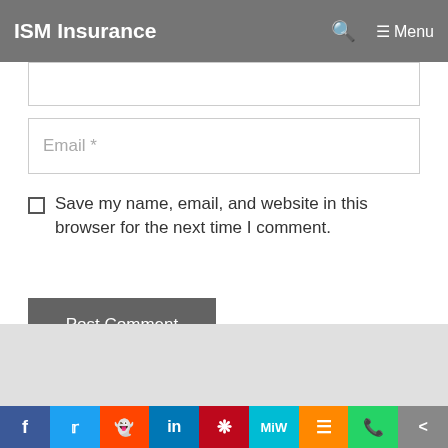ISM Insurance
Email *
Save my name, email, and website in this browser for the next time I comment.
Post Comment